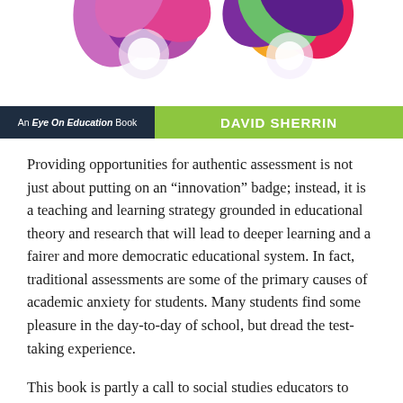[Figure (illustration): Colorful abstract pinwheel/flower shapes in purple, pink, magenta, orange, and green at the top of the page — partial view of a book cover illustration]
An Eye On Education Book
DAVID SHERRIN
Providing opportunities for authentic assessment is not just about putting on an “innovation” badge; instead, it is a teaching and learning strategy grounded in educational theory and research that will lead to deeper learning and a fairer and more democratic educational system. In fact, traditional assessments are some of the primary causes of academic anxiety for students. Many students find some pleasure in the day-to-day of school, but dread the test-taking experience.
This book is partly a call to social studies educators to allow our next generation of artists, singers,